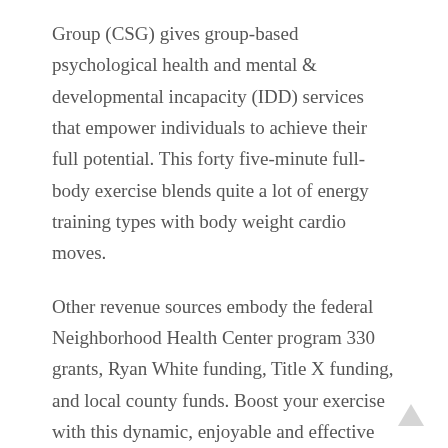Group (CSG) gives group-based psychological health and mental & developmental incapacity (IDD) services that empower individuals to achieve their full potential. This forty five-minute full-body exercise blends quite a lot of energy training types with body weight cardio moves.
Other revenue sources embody the federal Neighborhood Health Center program 330 grants, Ryan White funding, Title X funding, and local county funds. Boost your exercise with this dynamic, enjoyable and effective fitness program impressed by Latin dance strikes.
Numerous breakout periods led by the medical crew, bladder most cancers survivors and caregivers will present information about living with bladder cancer, treatment, the function of a support person, and more. In addition to family well being care companies, the ACES additionally include public health, community health and different...